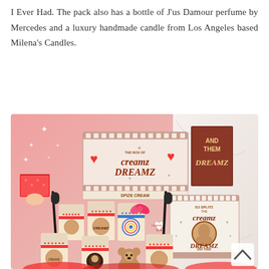I Ever Had. The pack also has a bottle of J'us Damour perfume by Mercedes and a luxury handmade candle from Los Angeles based Milena's Candles.
[Figure (photo): A promotional gift box photo featuring 'The Box of Creamz Dreamz' — multiple ice cream cups with branded labels, a heart-shaped gift tag, a small teddy bear, mascara wands, a DJ Splitz Creamz Dreamz USA Tour box, an 'And Them Dreamz' booklet, and decorative hearts and sparkles on a pink and marble background.]